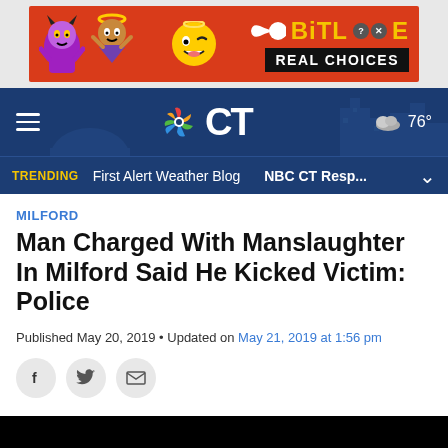[Figure (illustration): BitLife advertisement banner with cartoon devil and angel characters on red background, with 'BitLife Real Choices' branding]
[Figure (screenshot): NBC Connecticut website navigation bar with dark blue background, hamburger menu, NBC CT logo, weather showing 76°, and trending bar with 'First Alert Weather Blog' and 'NBC CT Resp...' links]
MILFORD
Man Charged With Manslaughter In Milford Said He Kicked Victim: Police
Published May 20, 2019 • Updated on May 21, 2019 at 1:56 pm
[Figure (illustration): Social sharing buttons: Facebook, Twitter, Email]
[Figure (photo): Black rectangular area at bottom of page, beginning of an article image]